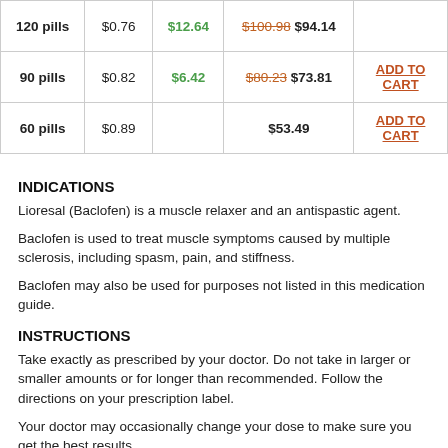| Qty | Price/pill | You save | Total price |  |
| --- | --- | --- | --- | --- |
| 120 pills | $0.76 | $12.64 | $100.98 $94.14 | ADD TO CART |
| 90 pills | $0.82 | $6.42 | $80.23 $73.81 | ADD TO CART |
| 60 pills | $0.89 |  | $53.49 | ADD TO CART |
INDICATIONS
Lioresal (Baclofen) is a muscle relaxer and an antispastic agent.
Baclofen is used to treat muscle symptoms caused by multiple sclerosis, including spasm, pain, and stiffness.
Baclofen may also be used for purposes not listed in this medication guide.
INSTRUCTIONS
Take exactly as prescribed by your doctor. Do not take in larger or smaller amounts or for longer than recommended. Follow the directions on your prescription label.
Your doctor may occasionally change your dose to make sure you get the best results.
Call your doctor if your muscle symptoms do not improve after 2 weeks of taking this medication. Do not stop taking this medication without first talking